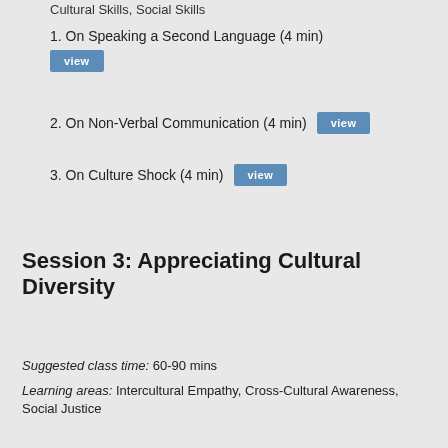Cultural Skills, Social Skills
1. On Speaking a Second Language (4 min)
2. On Non-Verbal Communication (4 min)
3. On Culture Shock (4 min)
Session 3: Appreciating Cultural Diversity
Suggested class time: 60-90 mins
Learning areas: Intercultural Empathy, Cross-Cultural Awareness, Social Justice